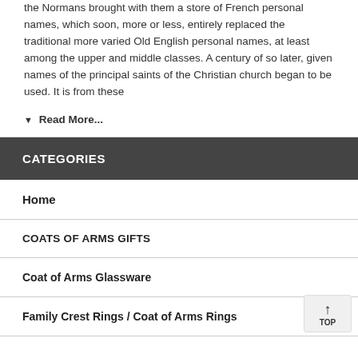the Normans brought with them a store of French personal names, which soon, more or less, entirely replaced the traditional more varied Old English personal names, at least among the upper and middle classes. A century of so later, given names of the principal saints of the Christian church began to be used. It is from these
▾ Read More...
CATEGORIES
Home
COATS OF ARMS GIFTS
Coat of Arms Glassware
Family Crest Rings / Coat of Arms Rings